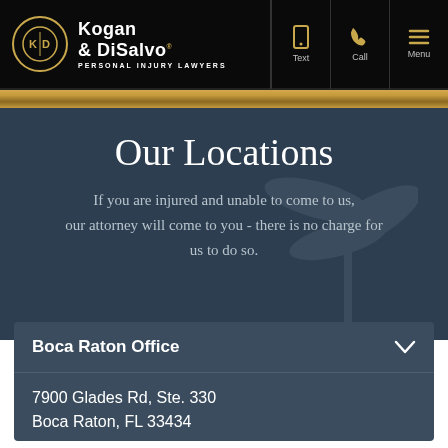Kogan & DiSalvo Personal Injury Lawyers — Text | Call | Menu
Our Locations
If you are injured and unable to come to us, our attorney will come to you - there is no charge for us to do so.
Boca Raton Office
7900 Glades Rd, Ste. 330
Boca Raton, FL 33434